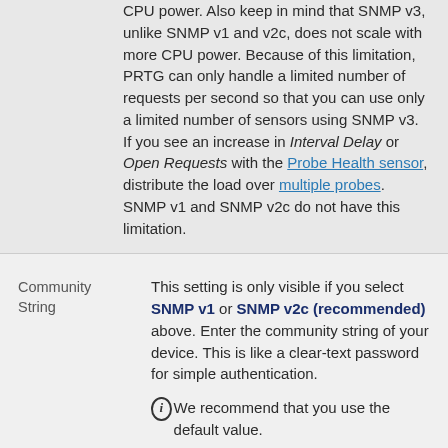CPU power. Also keep in mind that SNMP v3, unlike SNMP v1 and v2c, does not scale with more CPU power. Because of this limitation, PRTG can only handle a limited number of requests per second so that you can use only a limited number of sensors using SNMP v3. If you see an increase in Interval Delay or Open Requests with the Probe Health sensor, distribute the load over multiple probes. SNMP v1 and SNMP v2c do not have this limitation.
Community String
This setting is only visible if you select SNMP v1 or SNMP v2c (recommended) above. Enter the community string of your device. This is like a clear-text password for simple authentication.
We recommend that you use the default value.
Authentication Method
This setting is only visible if you select SNMP v3 above. Select the authentication method: